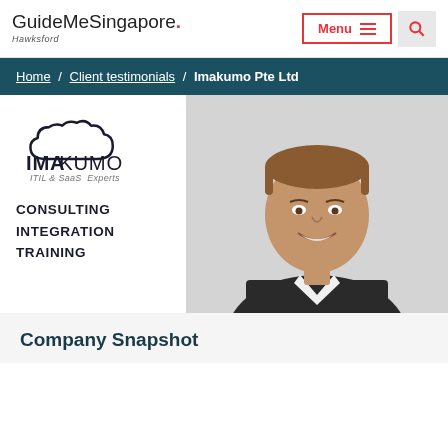GuideMeSingapore. Hawksford | Menu | Search
Home / Client testimonials / Imakumo Pte Ltd
[Figure (photo): Imakumo Pte Ltd company banner showing Imakumo logo (ITIL & SaaS Experts, Consulting Integration Training) on the left and a professional headshot of a smiling man in a dark suit on the right]
Company Snapshot